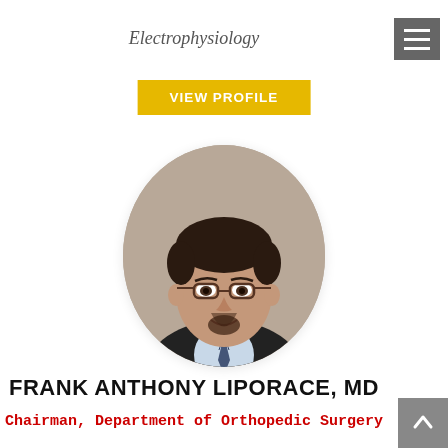Electrophysiology
VIEW PROFILE
[Figure (photo): Oval-framed professional headshot of a young man with glasses, dark hair, goatee, wearing a dark suit jacket, light blue shirt, and striped tie, smiling]
FRANK ANTHONY LIPORACE, MD
Chairman, Department of Orthopedic Surgery